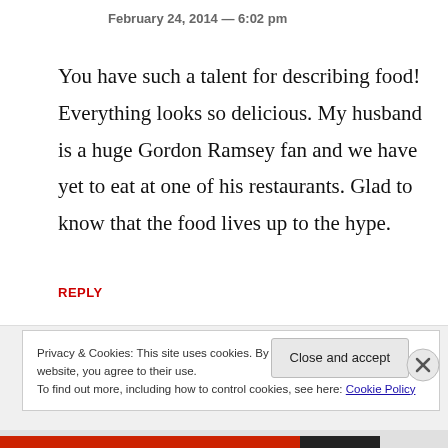February 24, 2014 — 6:02 pm
You have such a talent for describing food! Everything looks so delicious. My husband is a huge Gordon Ramsey fan and we have yet to eat at one of his restaurants. Glad to know that the food lives up to the hype.
REPLY
Privacy & Cookies: This site uses cookies. By continuing to use this website, you agree to their use.
To find out more, including how to control cookies, see here: Cookie Policy
Close and accept